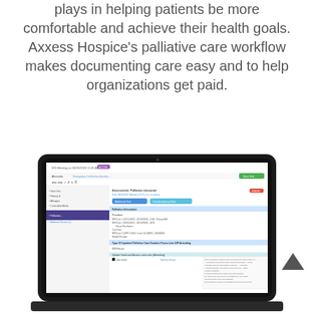plays in helping patients be more comfortable and achieve their health goals. Axxess Hospice's palliative care workflow makes documenting care easy and to help organizations get paid.
[Figure (screenshot): Screenshot of Axxess Hospice palliative care workflow interface shown on a laptop/tablet screen, displaying a care documentation form with patient information, navigation tabs, and clinical content sections.]